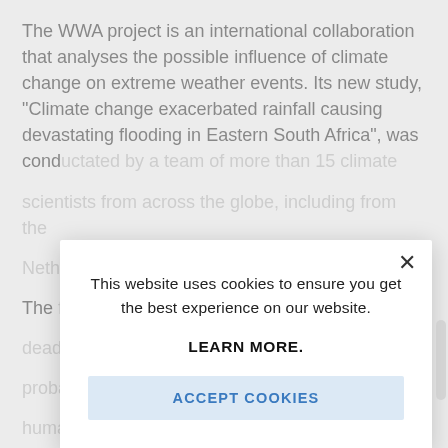The WWA project is an international collaboration that analyses the possible influence of climate change on extreme weather events. Its new study, "Climate change exacerbated rainfall causing devastating flooding in Eastern South Africa", was conducted by a team of more than 15 climate scientists from across the globe, including from the Netherlands.
The flooding in April 2022 was one of the deadliest in South Africa's history. The probability of such an event is made more likely by human-caused climate change.
The researchers compared the flooding event with...
[Figure (screenshot): Cookie consent modal dialog overlaying background article text. The modal reads: 'This website uses cookies to ensure you get the best experience on our website. LEARN MORE.' with an 'ACCEPT COOKIES' blue button and an X close button in the top right.]